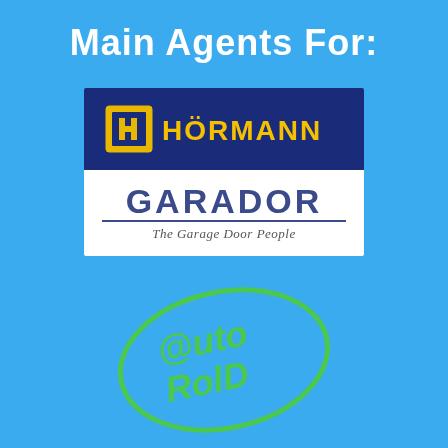Main Agents For:
[Figure (logo): Hörmann logo — white H symbol in a yellow square frame on dark navy blue background, with yellow text 'HÖRMANN']
[Figure (logo): Garador logo — dark blue uppercase 'GARADOR' with underline, italic text 'The Garage Door People' below, on white background]
[Figure (logo): AutoRoll logo — green oval outline with green stylized text '@uto RolD' inside, on blue background]